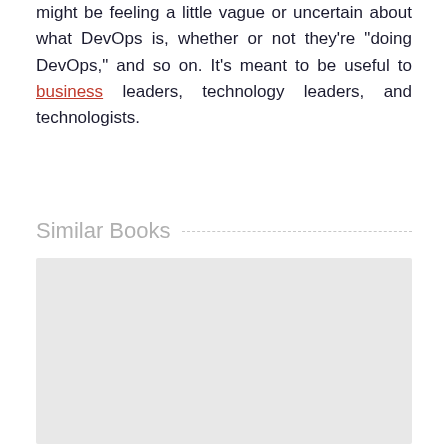might be feeling a little vague or uncertain about what DevOps is, whether or not they're "doing DevOps," and so on. It's meant to be useful to business leaders, technology leaders, and technologists.
Similar Books
[Figure (other): Gray placeholder rectangle for similar books content]